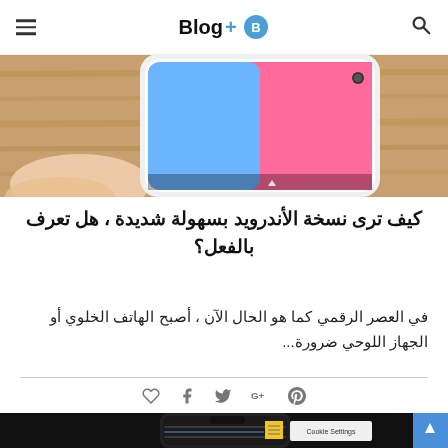Blog+ (logo with icon)
[Figure (photo): Hand holding a white Android smartphone against a wooden background, showing the phone screen with colorful content]
كيف ترى نسخة الأندرويد بسهولة شديدة ، هل تعرف بالفعل؟
في العصر الرقمي كما هو الحال الآن ، أصبح الهاتف الخلوي أو الجهاز اللوحي ضرورة...
[Figure (other): Social sharing icons: heart/like, Facebook, Twitter, Google+, Pinterest]
[Figure (screenshot): Dark background with a smartphone displaying epicgames.com/fortnite website at 11:39, with a yellow sticky note visible on the screen]